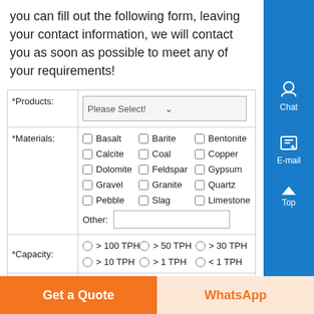you can fill out the following form, leaving your contact information, we will contact you as soon as possible to meet any of your requirements!
| Field | Content |
| --- | --- |
| *Products: | Please Select! (dropdown) |
| *Materials: | Basalt, Barite, Bentonite, Calcite, Coal, Copper, Dolomite, Feldspar, Gypsum, Gravel, Granite, Quartz, Pebble, Slag, Limestone, Other: (text input) |
| *Capacity: | > 100 TPH, > 50 TPH, > 30 TPH, > 10 TPH, > 1 TPH, < 1 TPH (radio buttons) |
| *Name: | Such as: John (text input) |
Get a Quote
WhatsApp